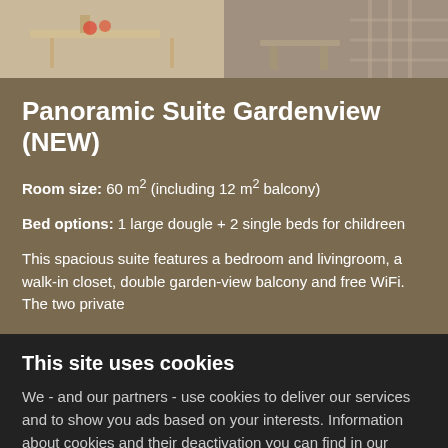[Figure (photo): Hotel room and garden view photo strip at the top of the page showing a table with fruit and outdoor furniture]
Panoramic Suite Gardenview (NEW)
Room size: 60 m² (including 12 m² balcony)
Bed options: 1 large dougle + 2 single beds for childreen
This spacious suite features a bedroom and livingroom, a walk-in closet, double garden-view balcony and free WiFi. The two private
This site uses cookies
We - and our partners - use cookies to deliver our services and to show you ads based on your interests. Information about cookies and their deactivation you can find in our Privacy Policy. By using our website, you agree to the use of cookies.
OK